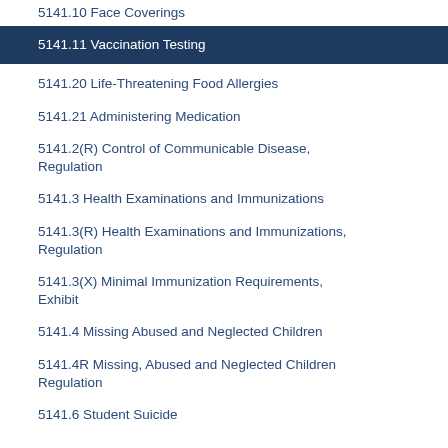5141.10 Face Coverings
5141.11 Vaccination Testing
5141.20 Life-Threatening Food Allergies
5141.21 Administering Medication
5141.2(R) Control of Communicable Disease, Regulation
5141.3 Health Examinations and Immunizations
5141.3(R) Health Examinations and Immunizations, Regulation
5141.3(X) Minimal Immunization Requirements, Exhibit
5141.4 Missing Abused and Neglected Children
5141.4R Missing, Abused and Neglected Children Regulation
5141.6 Student Suicide